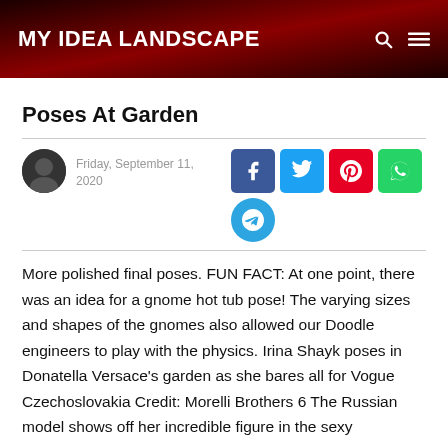MY IDEA LANDSCAPE
Poses At Garden
Friday, September 11, 2020
[Figure (other): Social share buttons: Facebook, Twitter, Pinterest, WhatsApp, Telegram]
More polished final poses. FUN FACT: At one point, there was an idea for a gnome hot tub pose! The varying sizes and shapes of the gnomes also allowed our Doodle engineers to play with the physics. Irina Shayk poses in Donatella Versace's garden as she bares all for Vogue Czechoslovakia Credit: Morelli Brothers 6 The Russian model shows off her incredible figure in the sexy